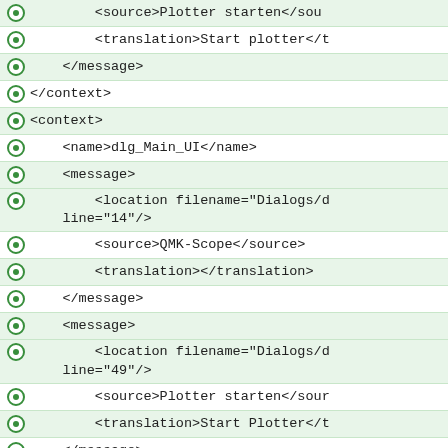[Figure (screenshot): XML/Qt translation file code view showing XML elements with expand icons on alternating green rows. Lines include source, translation, message, context, name, and location tags with partial content cut off on the right side.]